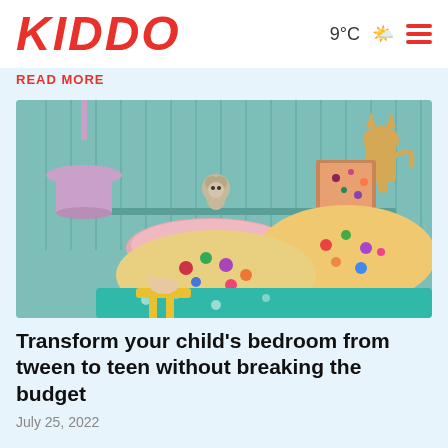KIDDO  9°C  ☁️  ≡
READ MORE
[Figure (photo): A child's bedroom with teal/mint painted wooden panel walls. Floral patterned pillows and bedding in yellow, pink, teal colours are on the bed. A pink pendant lamp hangs on the left. A crocheted monkey toy sits on a shelf above the bed. A yellow side table holds a decorative swan figure. A wooden cat wall art is on the right.]
Transform your child's bedroom from tween to teen without breaking the budget
July 25, 2022